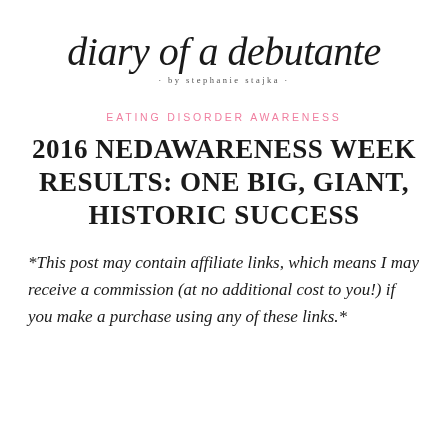[Figure (logo): Diary of a Debutante logo in cursive script with 'by stephanie stajka' subtitle]
EATING DISORDER AWARENESS
2016 NEDAWARENESS WEEK RESULTS: ONE BIG, GIANT, HISTORIC SUCCESS
*This post may contain affiliate links, which means I may receive a commission (at no additional cost to you!) if you make a purchase using any of these links.*